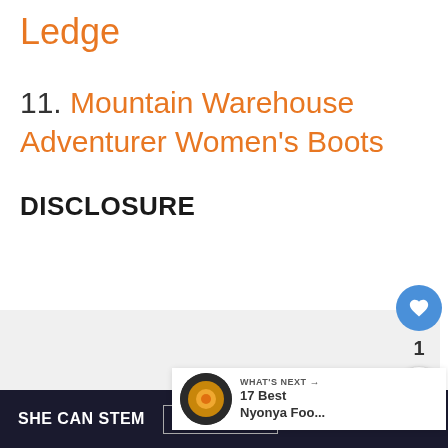Ledge
11. Mountain Warehouse Adventurer Women’s Boots
DISCLOSURE
[Figure (screenshot): Gray advertisement/content placeholder area]
[Figure (infographic): Sidebar with heart/like button (count: 1) and share button]
WHAT’S NEXT → 17 Best Nyonya Foo...
SHE CAN STEM   Learn More